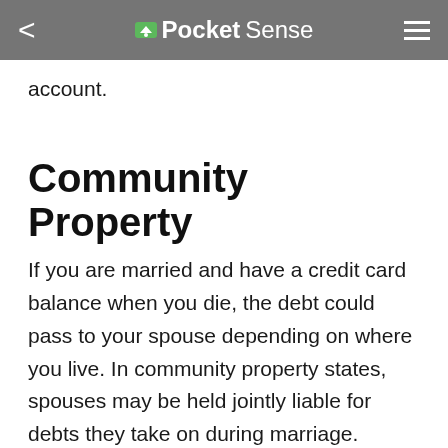PocketSense
account.
Community Property
If you are married and have a credit card balance when you die, the debt could pass to your spouse depending on where you live. In community property states, spouses may be held jointly liable for debts they take on during marriage. According to Nolo, community property states are Arizona,